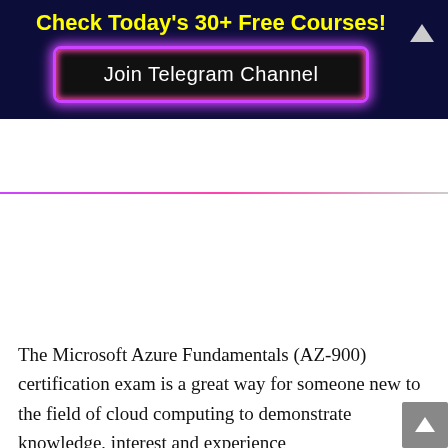Check Today's 30+ Free Courses!
[Figure (other): Join Telegram Channel button with purple/pink glowing border on dark navy background]
The Microsoft Azure Fundamentals (AZ-900) certification exam is a great way for someone new to the field of cloud computing to demonstrate knowledge, interest and experience